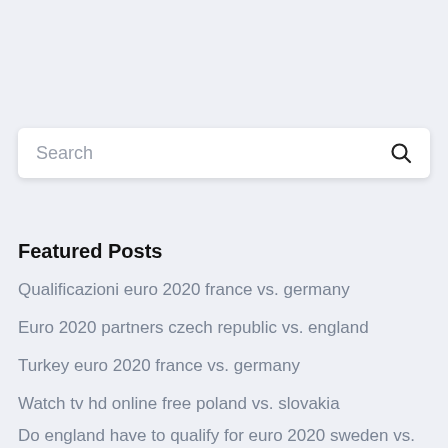[Figure (screenshot): Search bar input field with placeholder text 'Search' and a magnifying glass icon on the right]
Featured Posts
Qualificazioni euro 2020 france vs. germany
Euro 2020 partners czech republic vs. england
Turkey euro 2020 france vs. germany
Watch tv hd online free poland vs. slovakia
Do england have to qualify for euro 2020 sweden vs.